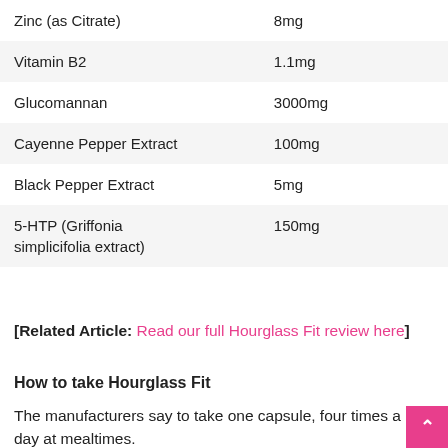| Ingredient | Amount |
| --- | --- |
| Zinc (as Citrate) | 8mg |
| Vitamin B2 | 1.1mg |
| Glucomannan | 3000mg |
| Cayenne Pepper Extract | 100mg |
| Black Pepper Extract | 5mg |
| 5-HTP (Griffonia simplicifolia extract) | 150mg |
[Related Article: Read our full Hourglass Fit review here]
How to take Hourglass Fit
The manufacturers say to take one capsule, four times a day at mealtimes.